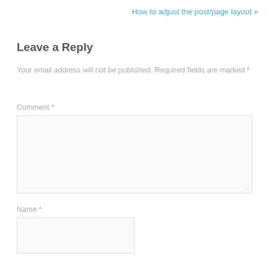How to adjust the post/page layout »
Leave a Reply
Your email address will not be published. Required fields are marked *
Comment *
Name *